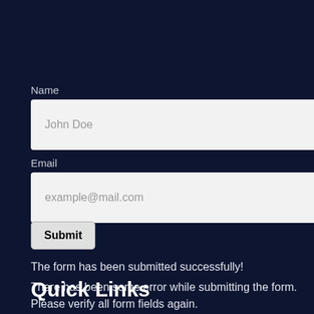Name
[Figure (screenshot): Text input field with placeholder text 'John Doe']
Email
[Figure (screenshot): Text input field with placeholder text 'example@mail.com']
[Figure (screenshot): Submit button]
The form has been submitted successfully!
There has been some error while submitting the form. Please verify all form fields again.
Quick Links